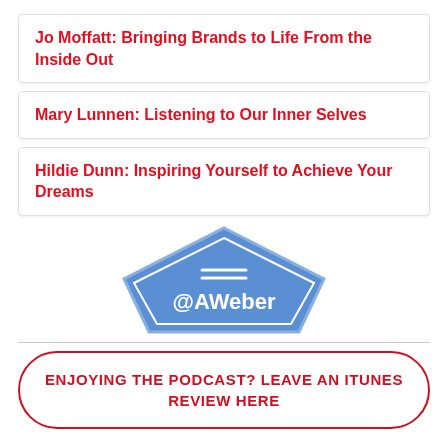Jo Moffatt: Bringing Brands to Life From the Inside Out
Mary Lunnen: Listening to Our Inner Selves
Hildie Dunn: Inspiring Yourself to Achieve Your Dreams
[Figure (logo): AWeber logo — blue pentagon/house shape with AWeber wordmark in white]
ENJOYING THE PODCAST? LEAVE AN ITUNES REVIEW HERE